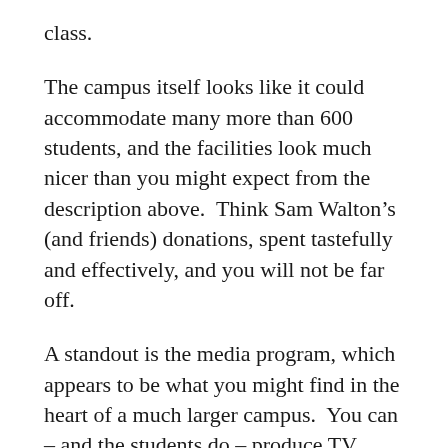class.
The campus itself looks like it could accommodate many more than 600 students, and the facilities look much nicer than you might expect from the description above.  Think Sam Walton’s (and friends) donations, spent tastefully and effectively, and you will not be far off.
A standout is the media program, which appears to be what you might find in the heart of a much larger campus.  You can – and the students do – produce TV broadcasts and run a low power FM station there.  One very busy faculty member with a professional resume runs